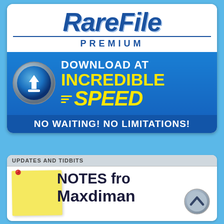[Figure (logo): RareFile Premium logo with blue italic text, horizontal rule, and PREMIUM in spaced capitals]
[Figure (infographic): Blue banner with metallic download arrow icon, text DOWNLOAD AT INCREDIBLE SPEED in white and yellow, NO WAITING! NO LIMITATIONS! bar]
UPDATES AND TIDBITS
[Figure (illustration): Yellow sticky note with red pushpin and handwritten-style text NOTES fro... (Notes from Maxdiman) with a circular scroll-up chevron button]